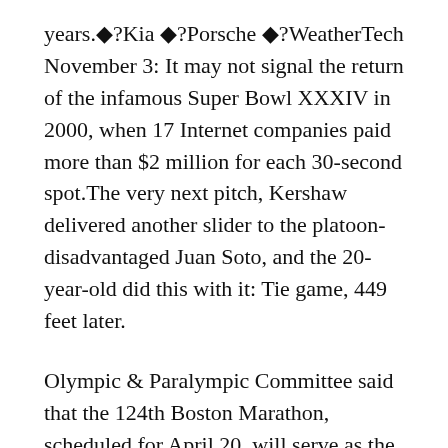years.◆?Kia ◆?Porsche ◆?WeatherTech November 3: It may not signal the return of the infamous Super Bowl XXXIV in 2000, when 17 Internet companies paid more than $2 million for each 30-second spot.The very next pitch, Kershaw delivered another slider to the platoon-disadvantaged Juan Soto, and the 20-year-old did this with it: Tie game, 449 feet later.
Olympic & Paralympic Committee said that the 124th Boston Marathon, scheduled for April 20, will serve as the 2020 U.S.The Rockets sent veteran forward Glen Rice and two draft picks — next season's first-round pick and a pick acquired from Chicago — to Utah to pick up center John Amaechi and a chunk of spending